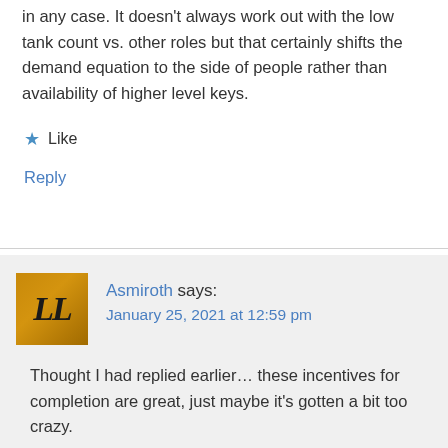in any case. It doesn't always work out with the low tank count vs. other roles but that certainly shifts the demand equation to the side of people rather than availability of higher level keys.
Like
Reply
Asmiroth says:
January 25, 2021 at 12:59 pm
Thought I had replied earlier… these incentives for completion are great, just maybe it's gotten a bit too crazy.